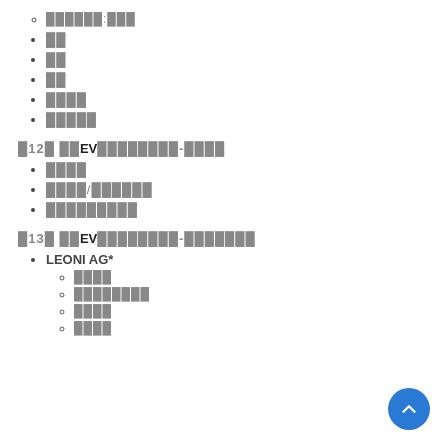██████:███
██
██
██
████
█████
█12█ ██EV████████-████
████
████/██████
█████████
█13█ ██EV████████-███████
LEONI AG*
████
████████
████
████